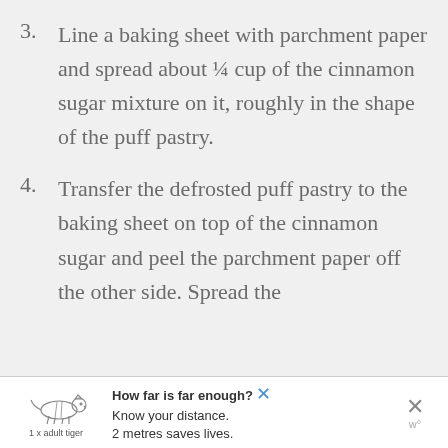3. Line a baking sheet with parchment paper and spread about ¼ cup of the cinnamon sugar mixture on it, roughly in the shape of the puff pastry.
4. Transfer the defrosted puff pastry to the baking sheet on top of the cinnamon sugar and peel the parchment paper off the other side. Spread the
[Figure (other): Advertisement banner with a tiger illustration and text: 'How far is far enough? Know your distance. 2 metres saves lives. 1 x adult tiger']